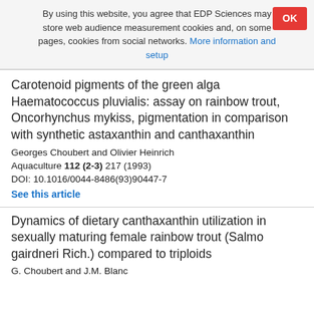By using this website, you agree that EDP Sciences may store web audience measurement cookies and, on some pages, cookies from social networks. More information and setup
Carotenoid pigments of the green alga Haematococcus pluvialis: assay on rainbow trout, Oncorhynchus mykiss, pigmentation in comparison with synthetic astaxanthin and canthaxanthin
Georges Choubert and Olivier Heinrich
Aquaculture 112 (2-3) 217 (1993)
DOI: 10.1016/0044-8486(93)90447-7
See this article
Dynamics of dietary canthaxanthin utilization in sexually maturing female rainbow trout (Salmo gairdneri Rich.) compared to triploids
G. Choubert and J.M. Blanc